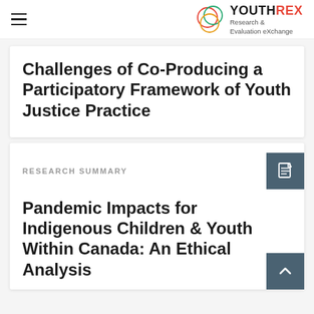YOUTHREX Research & Evaluation eXchange
Challenges of Co-Producing a Participatory Framework of Youth Justice Practice
RESEARCH SUMMARY
Pandemic Impacts for Indigenous Children & Youth Within Canada: An Ethical Analysis